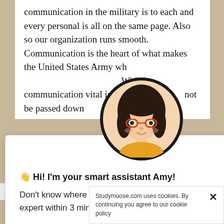communication in the military is to each and every personal is all on the same page. Also so our organization runs smooth. Communication is the heart of what makes the United States Army wh... Without communication vital in... not be passed down ...in of Non ...rs. Not to ...jeopardy, ...d......
[Figure (illustration): Animated avatar of a girl with dark hair, glasses, and a yellow top, inside a black circular frame - the 'Amy' smart assistant avatar]
× (close button)
👋 Hi! I'm your smart assistant Amy!
Don't know where to start? Type your requirements and I'll connect you to an academic expert within 3 minutes.
GET HELP WITH YOUR ASSIGNMENT
...EASON
...edures
and Processes
Words • 1086    Pages • ...
Studymoose.com uses cookies. By continuing you agree to our cookie policy
[Figure (logo): TrustedSite green checkmark logo]
100